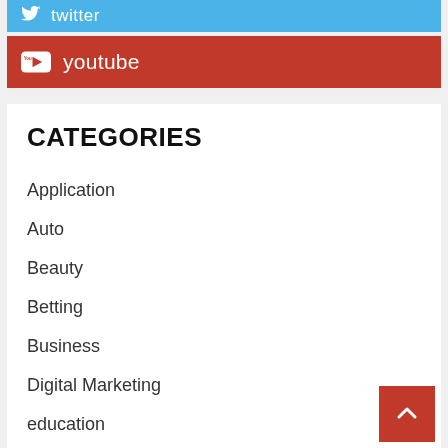[Figure (logo): Twitter social media button bar - blue background with Twitter bird icon and text 'twitter']
[Figure (logo): YouTube social media button bar - red background with YouTube icon and text 'youtube']
CATEGORIES
Application
Auto
Beauty
Betting
Business
Digital Marketing
education
Entertainment
Fashion